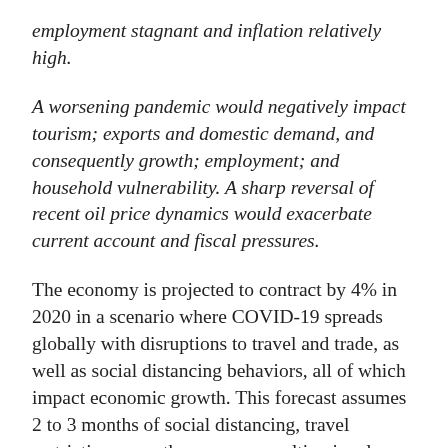employment stagnant and inflation relatively high.
A worsening pandemic would negatively impact tourism; exports and domestic demand, and consequently growth; employment; and household vulnerability. A sharp reversal of recent oil price dynamics would exacerbate current account and fiscal pressures.
The economy is projected to contract by 4% in 2020 in a scenario where COVID-19 spreads globally with disruptions to travel and trade, as well as social distancing behaviors, all of which impact economic growth. This forecast assumes 2 to 3 months of social distancing, travel restrictions over the summer resulting in a large contraction of the tourism sector, and the